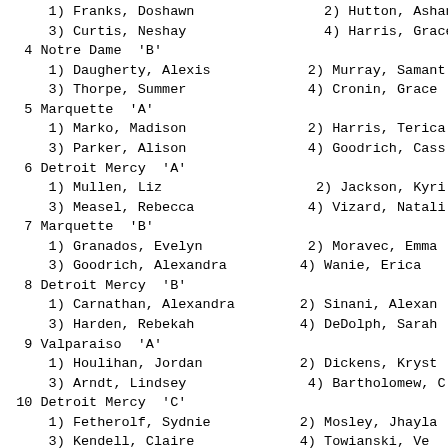1) Franks, Doshawn    2) Hutton, Ashant
   3) Curtis, Neshay    4) Harris, Grace
4 Notre Dame 'B'
   1) Daugherty, Alexis    2) Murray, Samant
   3) Thorpe, Summer       4) Cronin, Grace
5 Marquette 'A'
   1) Marko, Madison    2) Harris, Terica
   3) Parker, Alison    4) Goodrich, Cass
6 Detroit Mercy 'A'
   1) Mullen, Liz          2) Jackson, Kyri
   3) Measel, Rebecca      4) Vizard, Natali
7 Marquette 'B'
   1) Granados, Evelyn      2) Moravec, Emma
   3) Goodrich, Alexandra   4) Wanie, Erica
8 Detroit Mercy 'B'
   1) Carnathan, Alexandra   2) Sinani, Alexan
   3) Harden, Rebekah        4) DeDolph, Sarah
9 Valparaiso 'A'
   1) Houlihan, Jordan    2) Dickens, Kryst
   3) Arndt, Lindsey      4) Bartholomew, C
10 Detroit Mercy 'C'
    1) Fetherolf, Sydnie   2) Mosley, Jhayla
    3) Kendell, Claire     4) Towianski, Ve
-- Bethel (Ind.) 'A'
    1) Jackey, Alexis    2) Miller, Michae
    3) Roth, Emily       4) Gouwens, Leah
-- Northern Illinois 'B'
    1) McCray, Kishona    2) Finegan, Nora
    3) Johnston, Syanne   4) Dallas, Kedish